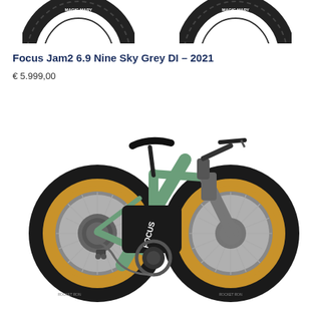[Figure (photo): Partial top view of two mountain bike tires with MAGIC MARY tread pattern, cut off at top of page]
Focus Jam2 6.9 Nine Sky Grey DI – 2021
€ 5.999,00
[Figure (photo): Full side view of a Focus Jam2 6.9 electric mountain bike in sky grey/green color with tan-walled tires, black fork, and FOCUS branding on the down tube]